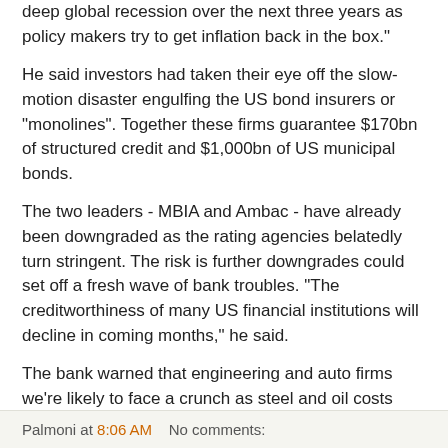deep global recession over the next three years as policy makers try to get inflation back in the box."
He said investors had taken their eye off the slow-motion disaster engulfing the US bond insurers or "monolines". Together these firms guarantee $170bn of structured credit and $1,000bn of US municipal bonds.
The two leaders - MBIA and Ambac - have already been downgraded as the rating agencies belatedly turn stringent. The risk is further downgrades could set off a fresh wave of bank troubles. "The creditworthiness of many US financial institutions will decline in coming months," he said.
The bank warned that engineering and auto firms we're likely to face a crunch as steel and oil costs surge. "Their business models will have to be substantially altered if they are going to survive," said Mr McAdie. http://www.telegraph.co.uk/money/main.jhtml?xml=/money/2008/06/27/cnbarclays127.xml
Palmoni at 8:06 AM   No comments: